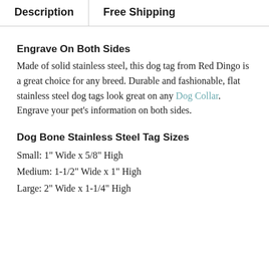Description | Free Shipping
Engrave On Both Sides
Made of solid stainless steel, this dog tag from Red Dingo is a great choice for any breed. Durable and fashionable, flat stainless steel dog tags look great on any Dog Collar.  Engrave your pet's information on both sides.
Dog Bone Stainless Steel Tag Sizes
Small: 1" Wide x 5/8" High
Medium: 1-1/2" Wide x 1" High
Large: 2" Wide x 1-1/4" High